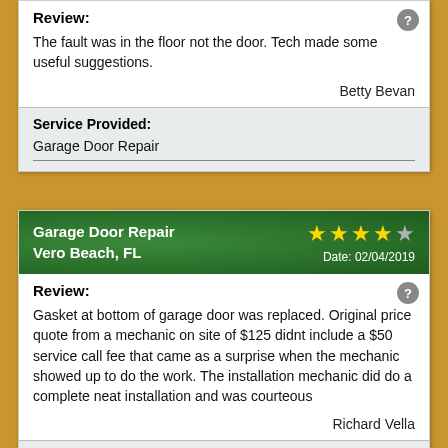Review:
The fault was in the floor not the door. Tech made some useful suggestions.
Betty Bevan
| Service Provided: |
| --- |
| Garage Door Repair |
Garage Door Repair
Vero Beach, FL
Date: 02/04/2019
Review:
Gasket at bottom of garage door was replaced. Original price quote from a mechanic on site of $125 didnt include a $50 service call fee that came as a surprise when the mechanic showed up to do the work. The installation mechanic did do a complete neat installation and was courteous
Richard Vella
| Service Provided: |
| --- |